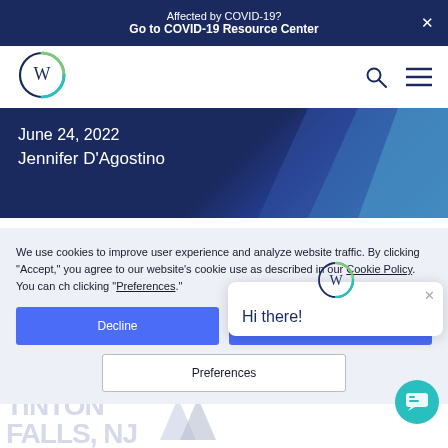Affected by COVID-19?
Go to COVID-19 Resource Center
[Figure (logo): W circular logo with blue-green gradient ring]
June 24, 2022
Jennifer D'Agostino
We use cookies to improve user experience and analyze website traffic. By clicking "Accept," you agree to our website's cookie use as described in our Cookie Policy. You can change your cookie settings at any time by clicking "Preferences."
Decline
Accept
Preferences
Hi there!
TINTON
FALLS, NJ